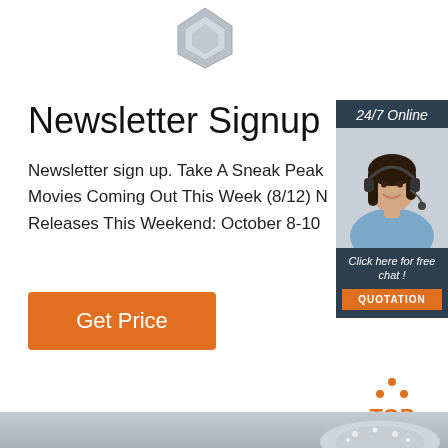[Figure (illustration): Small logo or icon at the top center of the page, appears to be a stylized emblem]
Newsletter Signup
Newsletter sign up. Take A Sneak Peak Movies Coming Out This Week (8/12) N Releases This Weekend: October 8-10
[Figure (illustration): 24/7 Online chat widget sidebar showing a smiling woman with headset, dark blue/navy background, with 'Click here for free chat!' text and an orange QUOTATION button]
[Figure (other): Orange 'Get Price' button]
[Figure (illustration): Orange 'TOP' icon with upward arrow dots at bottom right]
[Figure (photo): Silver/grey strip at the bottom with what appears to be jewelry or diamond accessory]